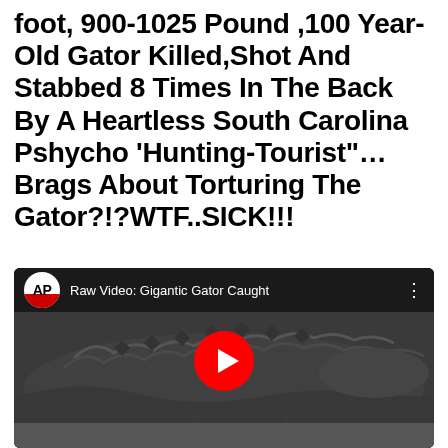foot, 900-1025 Pound ,100 Year-Old Gator Killed,Shot And Stabbed 8 Times In The Back By A Heartless South Carolina Pshycho 'Hunting-Tourist"… Brags About Torturing The Gator?!?WTF..SICK!!!
[Figure (screenshot): YouTube video thumbnail showing a large alligator in grayscale. The video is from AP (Associated Press) titled 'Raw Video: Gigantic Gator Caught'. A red YouTube play button is centered on the thumbnail.]